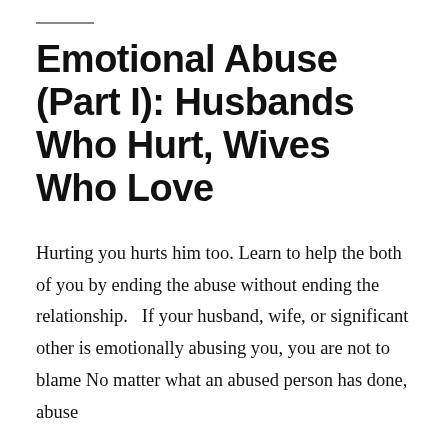Emotional Abuse (Part I): Husbands Who Hurt, Wives Who Love
Hurting you hurts him too. Learn to help the both of you by ending the abuse without ending the relationship.   If your husband, wife, or significant other is emotionally abusing you, you are not to blame No matter what an abused person has done, abuse